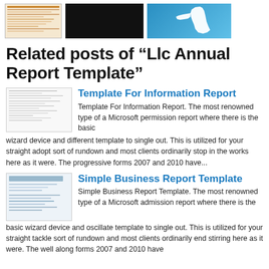[Figure (illustration): Three thumbnail images in a row: a spreadsheet/table thumbnail with orange rows, a black rectangle, and a blue Florida state map thumbnail]
Related posts of "Llc Annual Report Template"
[Figure (illustration): Thumbnail of a form document for Template For Information Report]
Template For Information Report
Template For Information Report. The most renowned type of a Microsoft permission report where there is the basic wizard device and different template to single out. This is utilized for your straight adopt sort of rundown and most clients ordinarily stop in the works here as it were. The progressive forms 2007 and 2010 have...
[Figure (illustration): Thumbnail of a form document for Simple Business Report Template]
Simple Business Report Template
Simple Business Report Template. The most renowned type of a Microsoft admission report where there is the basic wizard device and oscillate template to single out. This is utilized for your straight tackle sort of rundown and most clients ordinarily end stirring here as it were. The well along forms 2007 and 2010 have